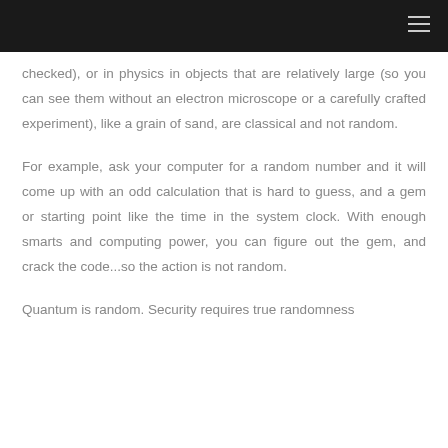checked), or in physics in objects that are relatively large (so you can see them without an electron microscope or a carefully crafted experiment), like a grain of sand, are classical and not random.
For example, ask your computer for a random number and it will come up with an odd calculation that is hard to guess, and a gem or starting point like the time in the system clock. With enough smarts and computing power, you can figure out the gem, and crack the code...so the action is not random.
Quantum is random. Security requires true randomness